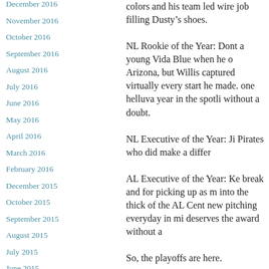December 2016
November 2016
October 2016
September 2016
August 2016
July 2016
June 2016
May 2016
April 2016
March 2016
February 2016
December 2015
October 2015
September 2015
August 2015
July 2015
June 2015
May 2015
colors and his team led wire job filling Dusty’s shoes.
NL Rookie of the Year: Dont a young Vida Blue when he o Arizona, but Willis captured virtually every start he made. one helluva year in the spotli without a doubt.
NL Executive of the Year: Ji Pirates who did make a differ
AL Executive of the Year: Ke break and for picking up as m into the thick of the AL Cent new pitching everyday in mi deserves the award without a
So, the playoffs are here.